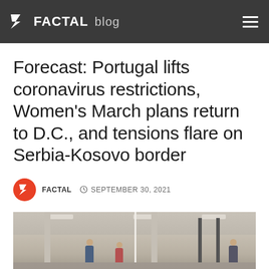FACTAL blog
Forecast: Portugal lifts coronavirus restrictions, Women’s March plans return to D.C., and tensions flare on Serbia-Kosovo border
FACTAL ○ SEPTEMBER 30, 2021
[Figure (photo): Interior of what appears to be an airport or government building hall with columns, ceiling lights, partitions on the right side, and a few people visible in the space. The image is split by a visible seam in the middle.]